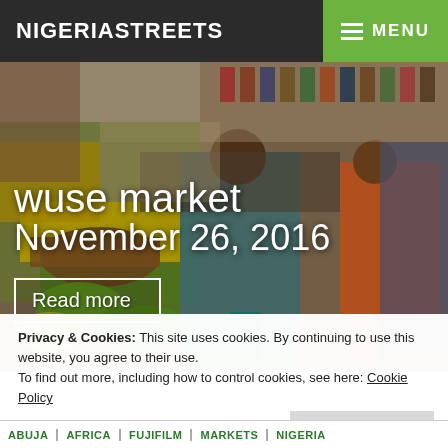NIGERIASTREETS
[Figure (photo): Busy indoor market scene with people shopping among stalls of fruits including bananas, limes, and other produce. Several people visible including one man in teal jalabiya and another in orange.]
wuse market
November 26, 2016
Read more
Privacy & Cookies: This site uses cookies. By continuing to use this website, you agree to their use.
To find out more, including how to control cookies, see here: Cookie Policy
Close and accept
ABUJA || AFRICA || FUJIFILM || MARKETS || NIGERIA